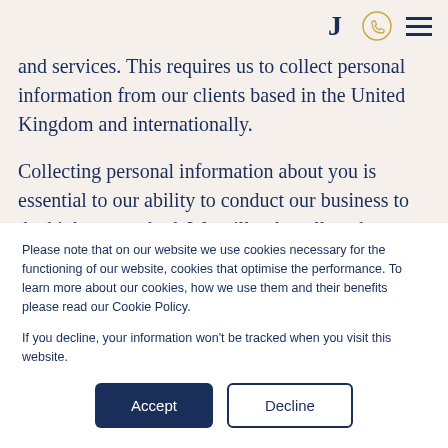J [phone icon] [menu icon]
and services. This requires us to collect personal information from our clients based in the United Kingdom and internationally.

Collecting personal information about you is essential to our ability to conduct our business to the highest standard. We will only collect the information necessary for these purposes and we are committed to protecting that
Please note that on our website we use cookies necessary for the functioning of our website, cookies that optimise the performance. To learn more about our cookies, how we use them and their benefits please read our Cookie Policy.
If you decline, your information won't be tracked when you visit this website.
Accept   Decline